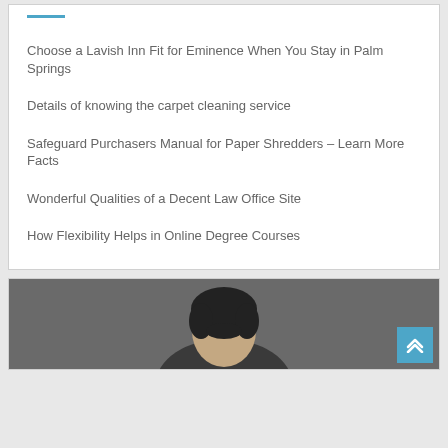Choose a Lavish Inn Fit for Eminence When You Stay in Palm Springs
Details of knowing the carpet cleaning service
Safeguard Purchasers Manual for Paper Shredders – Learn More Facts
Wonderful Qualities of a Decent Law Office Site
How Flexibility Helps in Online Degree Courses
[Figure (photo): Person with dark hair photographed against a dark gray background, partially visible at bottom of page]